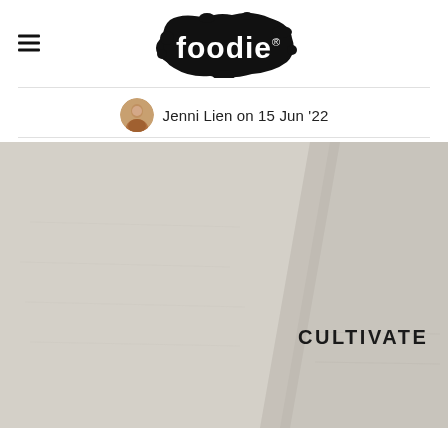foodie®
Jenni Lien on 15 Jun '22
[Figure (photo): Photo of a white/cream textured wall with the word CULTIVATE mounted on it in bold black letters. A diagonal shadow line divides the wall into two sections.]